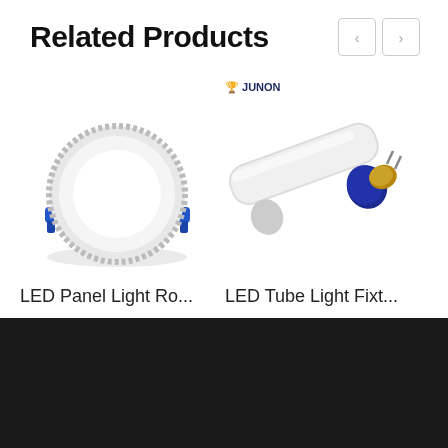Related Products
[Figure (photo): LED Panel Light round recessed downlight with blue mounting clips]
[Figure (photo): LED Tube Light fixture with blue end cap and gold pins, JUNON brand logo above]
LED Panel Light Ro...
LED Tube Light Fixt...
About Us
+86-757-2552-1232